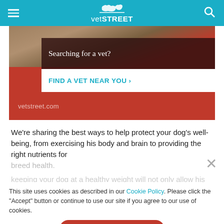vetSTREET
[Figure (other): VetStreet advertisement banner showing a dog in a bag with text: Searching for a vet? FIND A VET NEAR YOU › vetstreet.com]
We're sharing the best ways to help protect your dog's well-being, from exercising his body and brain to providing the right nutrients for breed health.
This site uses cookies as described in our Cookie Policy. Please click the "Accept" button or continue to use our site if you agree to our use of cookies.